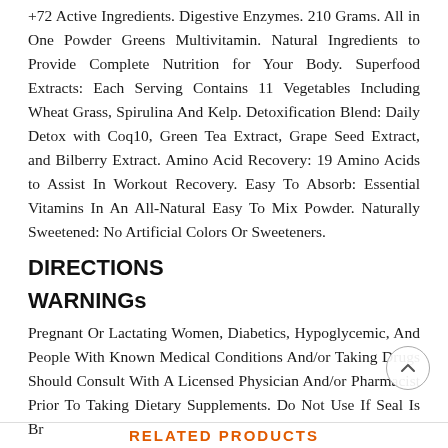+72 Active Ingredients. Digestive Enzymes. 210 Grams. All in One Powder Greens Multivitamin. Natural Ingredients to Provide Complete Nutrition for Your Body. Superfood Extracts: Each Serving Contains 11 Vegetables Including Wheat Grass, Spirulina And Kelp. Detoxification Blend: Daily Detox with Coq10, Green Tea Extract, Grape Seed Extract, and Bilberry Extract. Amino Acid Recovery: 19 Amino Acids to Assist In Workout Recovery. Easy To Absorb: Essential Vitamins In An All-Natural Easy To Mix Powder. Naturally Sweetened: No Artificial Colors Or Sweeteners.
DIRECTIONS
WARNINGs
Pregnant Or Lactating Women, Diabetics, Hypoglycemic, And People With Known Medical Conditions And/or Taking Drugs Should Consult With A Licensed Physician And/or Pharmacist Prior To Taking Dietary Supplements. Do Not Use If Seal Is Br
RELATED PRODUCTS